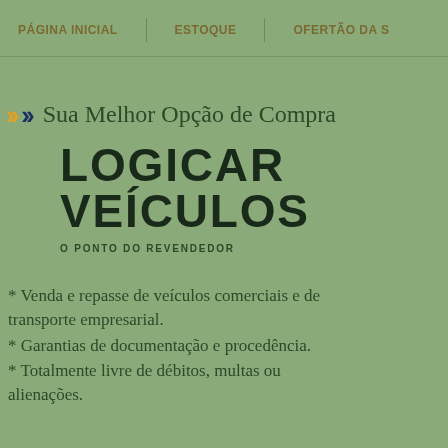PÁGINA INICIAL | ESTOQUE | OFERTÃO DA S
Sua Melhor Opção de Compra
LOGICAR VEÍCULOS
O PONTO DO REVENDEDOR
* Venda e repasse de veículos comerciais e de transporte empresarial.
* Garantias de documentação e procedência.
* Totalmente livre de débitos, multas ou alienações.